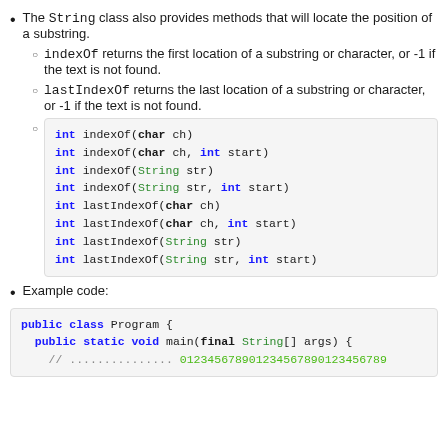The String class also provides methods that will locate the position of a substring.
indexOf returns the first location of a substring or character, or -1 if the text is not found.
lastIndexOf returns the last location of a substring or character, or -1 if the text is not found.
int indexOf(char ch)
int indexOf(char ch, int start)
int indexOf(String str)
int indexOf(String str, int start)
int lastIndexOf(char ch)
int lastIndexOf(char ch, int start)
int lastIndexOf(String str)
int lastIndexOf(String str, int start)
Example code:
public class Program {
  public static void main(final String[] args) {
    // .............. 01234567890123456789012345678...